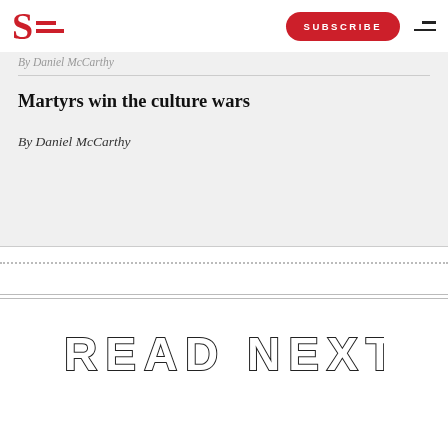S  SUBSCRIBE
By Daniel McCarthy
Martyrs win the culture wars
By Daniel McCarthy
READ NEXT